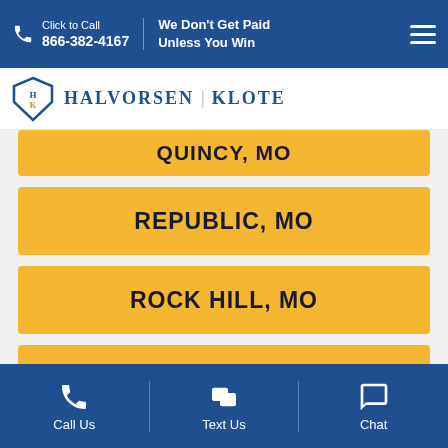Click to Call 866-382-4167 | We Don't Get Paid Unless You Win
[Figure (logo): Halvorsen Klote law firm logo with shield emblem]
QUINCY, MO
REPUBLIC, MO
ROCK HILL, MO
ROLLA, MO
SAPPINGTON, MO
Call Us | Text Us | Chat